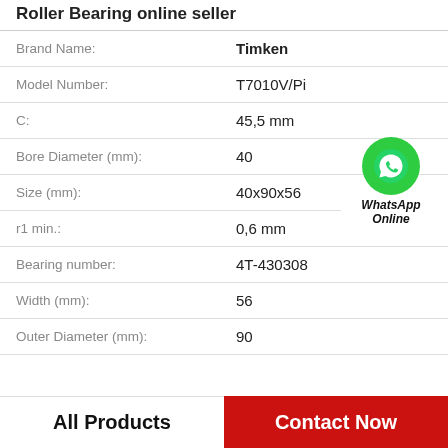Roller Bearing online seller
| Property | Value |
| --- | --- |
| Brand Name: | Timken |
| Model Number: | T7010V/Pi |
| C: | 45,5 mm |
| Bore Diameter (mm): | 40 |
| Size (mm): | 40x90x56 |
| r1 min.: | 0,6 mm |
| Bearing number: | 4T-430308 |
| Width (mm): | 56 |
| Outer Diameter (mm): | 90 |
[Figure (logo): WhatsApp Online contact button with green phone icon]
All Products   Contact Now